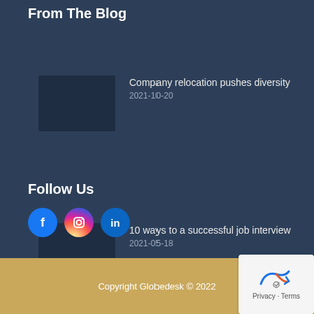From The Blog
Company relocation pushes diversity
2021-10-20
10 ways to a successful job interview
2021-05-18
Follow Us
[Figure (illustration): Social media icons: Facebook (blue circle with F), Instagram (gradient circle with camera icon), LinkedIn (blue circle with 'in')]
Copyright Globedesk © 2022